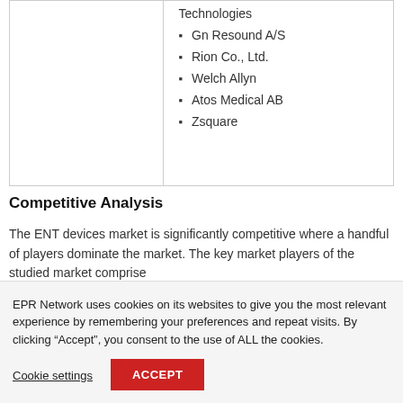|  | Technologies
Gn Resound A/S
Rion Co., Ltd.
Welch Allyn
Atos Medical AB
Zsquare |
Competitive Analysis
The ENT devices market is significantly competitive where a handful of players dominate the market. The key market players of the studied market comprise
EPR Network uses cookies on its websites to give you the most relevant experience by remembering your preferences and repeat visits. By clicking “Accept”, you consent to the use of ALL the cookies.
Cookie settings
ACCEPT